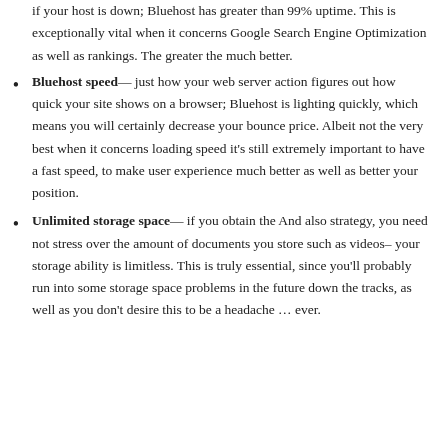if your host is down; Bluehost has greater than 99% uptime. This is exceptionally vital when it concerns Google Search Engine Optimization as well as rankings. The greater the much better.
Bluehost speed— just how your web server action figures out how quick your site shows on a browser; Bluehost is lighting quickly, which means you will certainly decrease your bounce price. Albeit not the very best when it concerns loading speed it's still extremely important to have a fast speed, to make user experience much better as well as better your position.
Unlimited storage space— if you obtain the And also strategy, you need not stress over the amount of documents you store such as videos– your storage ability is limitless. This is truly essential, since you'll probably run into some storage space problems in the future down the tracks, as well as you don't desire this to be a headache … ever.